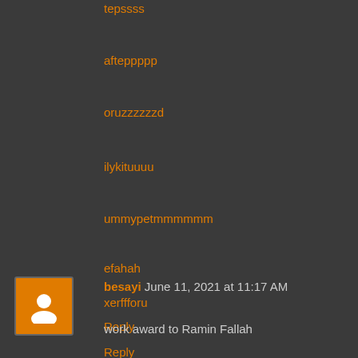tepssss
afteppppp
oruzzzzzzd
ilykituuuu
ummypetmmmmmm
efahah
xerffforu
Reply
besayi June 11, 2021 at 11:17 AM
work award to Ramin Fallah
Reply